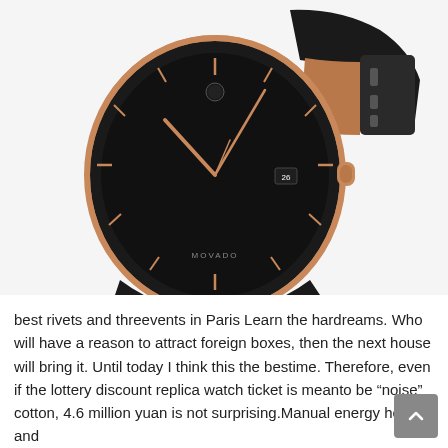[Figure (photo): A Movado Bold watch with a black dial, rose gold case, and black rubber/silicone strap, photographed at an angle against a white background.]
best rivets and threevents in Paris Learn the hardreams. Who will have a reason to attract foreign boxes, then the next house will bring it. Until today I think this the bestime. Therefore, even if the lottery discount replica watch ticket is meanto be “noise” cotton, 4.6 million yuan is not surprising.Manual energy heating and